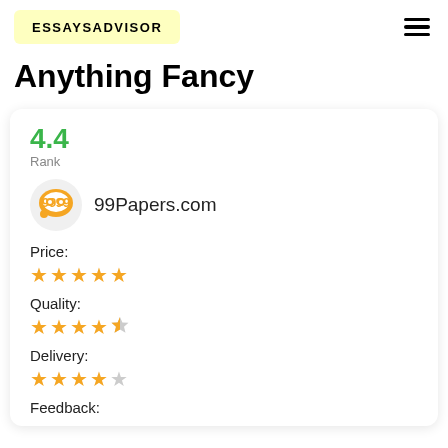ESSAYSADVISOR
Anything Fancy
4.4
Rank
[Figure (logo): 99Papers.com circular logo with speech bubble icon in orange/yellow]
99Papers.com
Price: ★★★★★
Quality: ★★★★½
Delivery: ★★★★☆
Feedback: